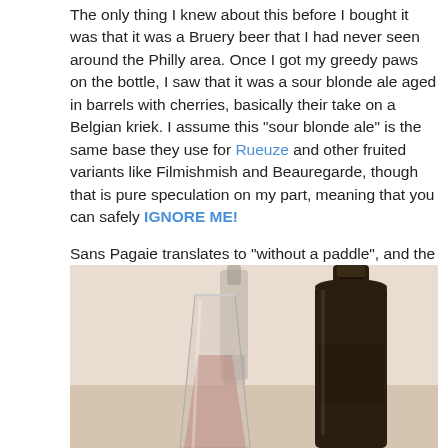The only thing I knew about this before I bought it was that it was a Bruery beer that I had never seen around the Philly area. Once I got my greedy paws on the bottle, I saw that it was a sour blonde ale aged in barrels with cherries, basically their take on a Belgian kriek. I assume this "sour blonde ale" is the same base they use for Rueuze and other fruited variants like Filmishmish and Beauregarde, though that is pure speculation on my part, meaning that you can safely IGNORE ME!
Sans Pagaie translates to "without a paddle", and the bottle itself sez: "Up a Kriek". I see what they did there. Let's see what I did this past weekend:
[Figure (photo): Photo of a dark brown beer bottle in the foreground with a glass containing a pinkish/reddish liquid and another bottle in the background, on a light beige surface.]